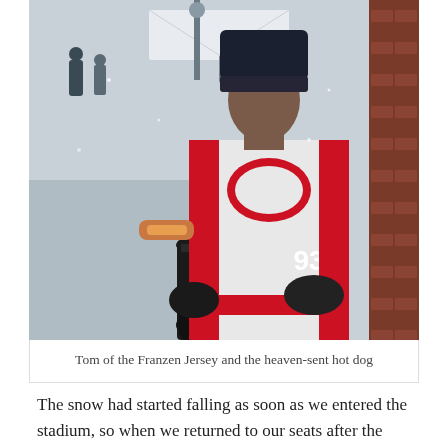[Figure (photo): A man wearing a Detroit Red Wings jersey (number 93, Franzen) and a dark knit beanie hat, eating a hot dog outdoors in snowy winter conditions. He stands next to a trash can and a brick wall. People and a snowy outdoor setting are visible in the background.]
Tom of the Franzen Jersey and the heaven-sent hot dog
The snow had started falling as soon as we entered the stadium, so when we returned to our seats after the